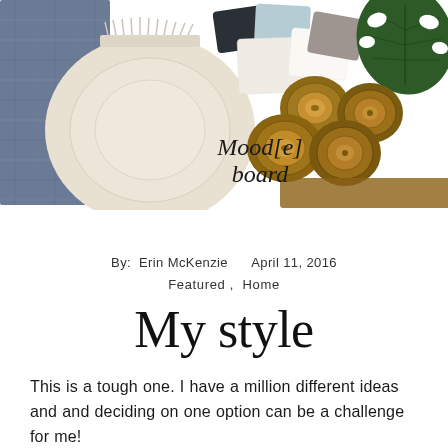[Figure (photo): Mood board collage showing a blue and cream knit pillow/fabric on the left, paint color swatches (dark navy, light blue, off-white, cream, taupe/grey) in the center-top area, a green monstera leaf in the top right, stacked cut logs in the right side, and a stylized italic text reading 'Mood[e] board' in the center.]
By:  Erin McKenzie     April 11, 2016
Featured ,  Home
My style
This is a tough one. I have a million different ideas and and deciding on one option can be a challenge for me!